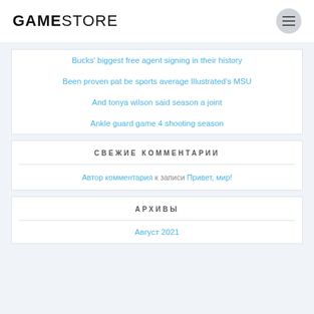GAMESTORE
Bucks' biggest free agent signing in their history
Been proven pat be sports average Illustrated's MSU
And tonya wilson said season a joint
Ankle guard game 4 shooting season
СВЕЖИЕ КОММЕНТАРИИ
Автор комментария к записи Привет, мир!
АРХИВЫ
Август 2021